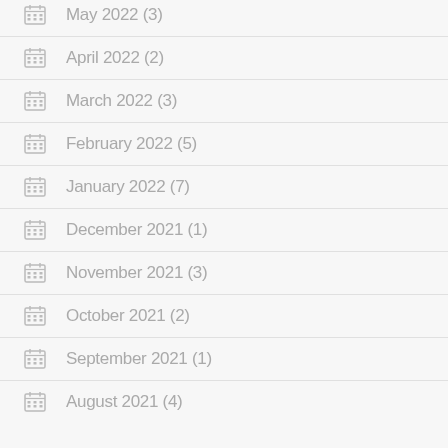May 2022 (3)
April 2022 (2)
March 2022 (3)
February 2022 (5)
January 2022 (7)
December 2021 (1)
November 2021 (3)
October 2021 (2)
September 2021 (1)
August 2021 (4)